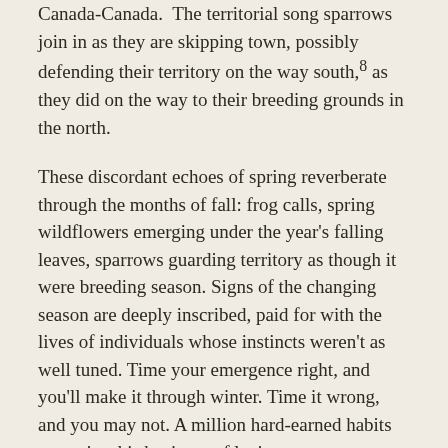Canada-Canada. The territorial song sparrows join in as they are skipping town, possibly defending their territory on the way south,8 as they did on the way to their breeding grounds in the north.
These discordant echoes of spring reverberate through the months of fall: frog calls, spring wildflowers emerging under the year's falling leaves, sparrows guarding territory as though it were breeding season. Signs of the changing season are deeply inscribed, paid for with the lives of individuals whose instincts weren't as well tuned. Time your emergence right, and you'll make it through winter. Time it wrong, and you may not. A million hard-earned habits comprise this business of laying up treasure on earth, where the moth and dust corrupt. These are the forest's strategies for getting through winter. Beauty is a byproduct.